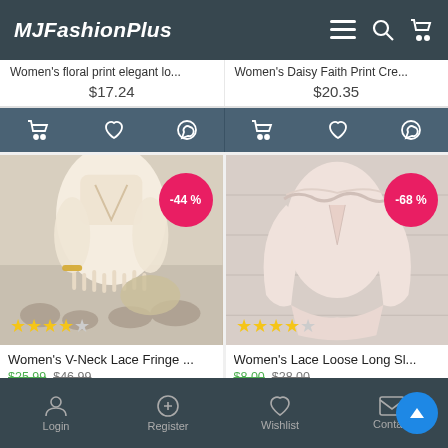MJFashionPlus
Women's floral print elegant lo... $17.24
Women's Daisy Faith Print Cre... $20.35
[Figure (photo): Women's V-Neck Lace Fringe dress product photo with -44% discount badge and star rating]
[Figure (photo): Women's Lace Loose Long Sleeve blouse product photo with -68% discount badge and star rating]
Women's V-Neck Lace Fringe ...
$25.99  $46.99
Women's Lace Loose Long Sl...
$8.00  $28.00
Login   Register   Wishlist   Contact